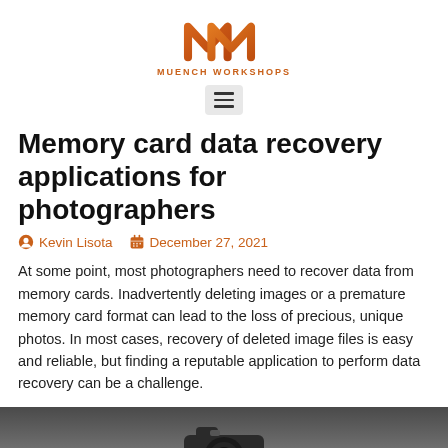[Figure (logo): Muench Workshops logo — two overlapping M letters in orange/brown gradient above the text MUENCH WORKSHOPS]
[Figure (other): Hamburger menu button (three horizontal lines) in a light gray rounded rectangle]
Memory card data recovery applications for photographers
Kevin Lisota   December 27, 2021
At some point, most photographers need to recover data from memory cards. Inadvertently deleting images or a premature memory card format can lead to the loss of precious, unique photos. In most cases, recovery of deleted image files is easy and reliable, but finding a reputable application to perform data recovery can be a challenge.
[Figure (photo): Black and white photograph partially visible at the bottom, showing a camera]